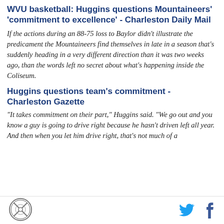WVU basketball: Huggins questions Mountaineers' 'commitment to excellence' - Charleston Daily Mail
If the actions during an 88-75 loss to Baylor didn't illustrate the predicament the Mountaineers find themselves in late in a season that's suddenly heading in a very different direction than it was two weeks ago, than the words left no secret about what's happening inside the Coliseum.
Huggins questions team's commitment - Charleston Gazette
"It takes commitment on their part," Huggins said. "We go out and you know a guy is going to drive right because he hasn't driven left all year. And then when you let him drive right, that's not much of a
[logo] [twitter] [facebook]